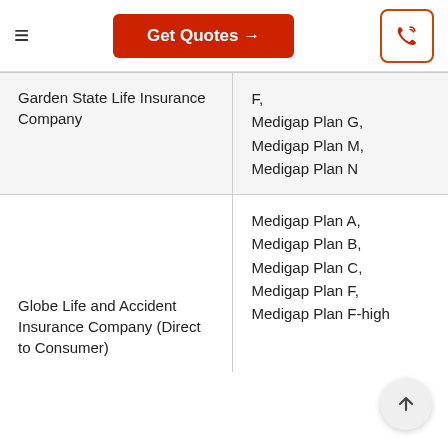Get Quotes →
| Company | Plans Available |
| --- | --- |
| Garden State Life Insurance Company | F,
Medigap Plan G,
Medigap Plan M,
Medigap Plan N |
| Globe Life and Accident Insurance Company (Direct to Consumer) | Medigap Plan A,
Medigap Plan B,
Medigap Plan C,
Medigap Plan F,
Medigap Plan F-high |